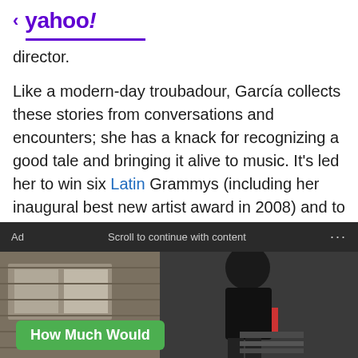< yahoo!
director.
Like a modern-day troubadour, García collects these stories from conversations and encounters; she has a knack for recognizing a good tale and bringing it alive to music. It's led her to win six Latin Grammys (including her inaugural best new artist award in 2008) and to reach the top 10 of Billboard's Latin Pop Albums chart every time, including two No. 1s.
[Figure (photo): Advertisement banner showing a person in dark clothing/gear outdoors near a building, with a green 'How Much Would' button overlay at bottom left.]